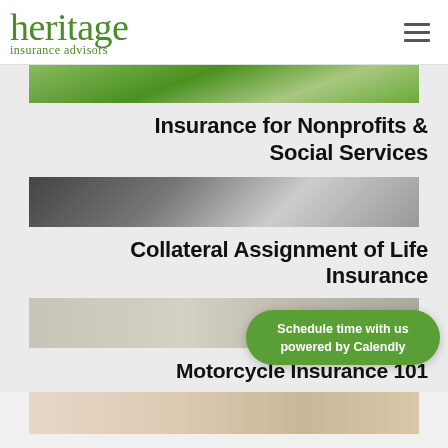heritage insurance advisors
[Figure (photo): Partial view of a person with arms raised outdoors with green foliage background]
Insurance for Nonprofits & Social Services
[Figure (photo): Portrait of a bearded man in a white shirt against a blurred background]
Collateral Assignment of Life Insurance
[Figure (photo): Rooftop or outdoor scene with blurred background]
Motorcycle Insurance 101
[Figure (photo): Partial view of person and vehicle at bottom of page]
Schedule time with us powered by Calendly